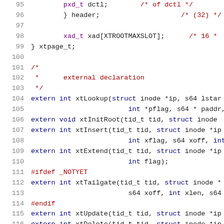[Figure (screenshot): Source code listing showing C header file declarations for JFS filesystem xtree functions, lines 95-116, with syntax highlighting: line numbers in gray, keywords in dark blue, comments in dark red, preprocessor directives in dark red.]